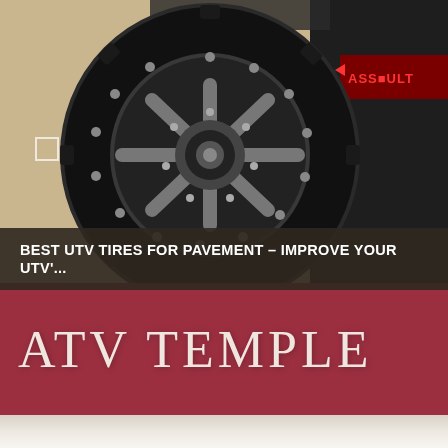[Figure (photo): Close-up photo of a large ATV/UTV off-road tire with a dark multi-spoke beadlock wheel rim, mounted on a vehicle. The background shows tan/sand colored ground. An 'ASSAULT' branded component is visible on the right side of the vehicle in red.]
BEST UTV TIRES FOR PAVEMENT – IMPROVE YOUR UTV'...
ATV TEMPLE